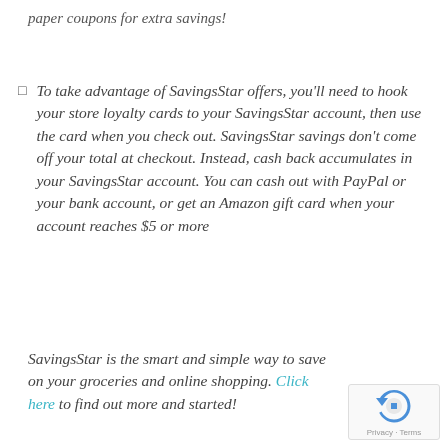paper coupons for extra savings!
To take advantage of SavingsStar offers, you'll need to hook your store loyalty cards to your SavingsStar account, then use the card when you check out. SavingsStar savings don't come off your total at checkout. Instead, cash back accumulates in your SavingsStar account. You can cash out with PayPal or your bank account, or get an Amazon gift card when your account reaches $5 or more
SavingsStar is the smart and simple way to save on your groceries and online shopping. Click here to find out more and started!